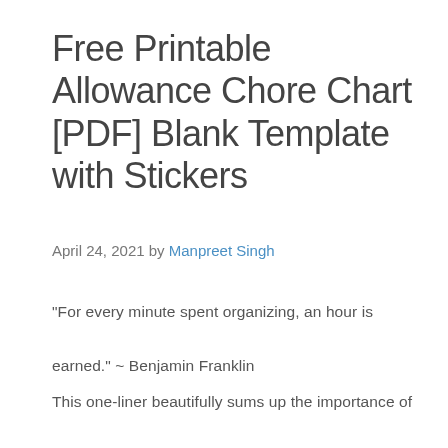Free Printable Allowance Chore Chart [PDF] Blank Template with Stickers
April 24, 2021 by Manpreet Singh
"For every minute spent organizing, an hour is earned." ~ Benjamin Franklin
This one-liner beautifully sums up the importance of staying organized in life. It won't be an